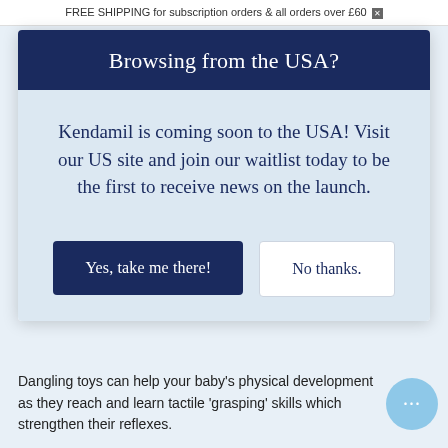FREE SHIPPING for subscription orders & all orders over £60 ✕
Browsing from the USA?
Kendamil is coming soon to the USA! Visit our US site and join our waitlist today to be the first to receive news on the launch.
Yes, take me there!
No thanks.
Dangling toys can help your baby's physical development as they reach and learn tactile 'grasping' skills which strengthen their reflexes.